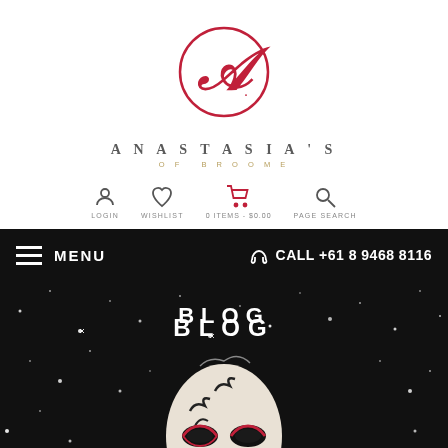[Figure (logo): Anastasia's of Broome logo — a stylized cursive A inside a red circle, with brand name below]
ANASTASIA'S
OF BROOME
LOGIN   WISHLIST   0 ITEMS - $0.00   PAGE SEARCH
MENU   CALL +61 8 9468 8116
[Figure (photo): Dark glittery background with a decorative masquerade mask (white with black and red ornamental designs), with 'BLOG' text overlay]